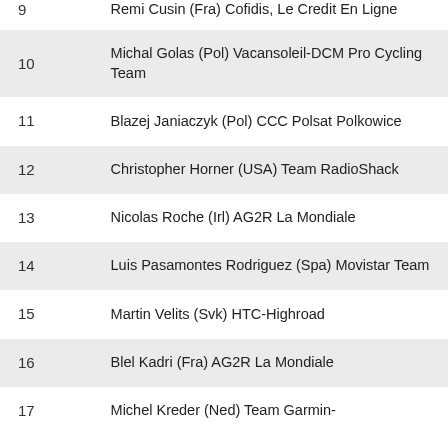| # | Rider |
| --- | --- |
| 9 | Remi Cusin (Fra) Cofidis, Le Credit En Ligne |
| 10 | Michal Golas (Pol) Vacansoleil-DCM Pro Cycling Team |
| 11 | Blazej Janiaczyk (Pol) CCC Polsat Polkowice |
| 12 | Christopher Horner (USA) Team RadioShack |
| 13 | Nicolas Roche (Irl) AG2R La Mondiale |
| 14 | Luis Pasamontes Rodriguez (Spa) Movistar Team |
| 15 | Martin Velits (Svk) HTC-Highroad |
| 16 | Blel Kadri (Fra) AG2R La Mondiale |
| 17 | Michel Kreder (Ned) Team Garmin- |